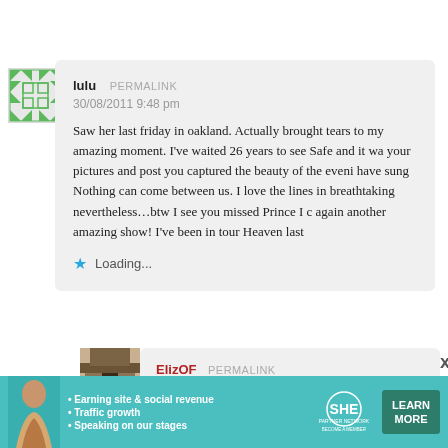[Figure (illustration): Green and white quilted/geometric pattern avatar icon for user lulu]
lulu   PERMALINK
30/08/2011 9:48 pm
Saw her last friday in oakland. Actually brought tears to my amazing moment. I've waited 26 years to see Safe and it wa your pictures and post you captured the beauty of the eveni have sung Nothing can come between us. I love the lines in breathtaking nevertheless…btw I see you missed Prince I c again another amazing show! I've been in tour Heaven last
★ Loading...
[Figure (photo): Partial photo of a building/temple structure, avatar for user ElizOF]
ElizOF   PERMALINK
[Figure (infographic): SHE Partner Network advertisement banner: teal background, woman photo, bullet points about earning site & social revenue, traffic growth, speaking on our stages, SHE logo, LEARN MORE button]